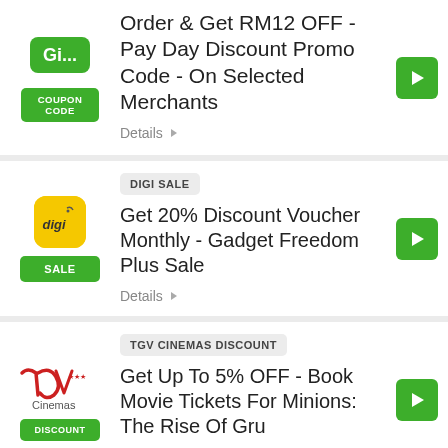Order & Get RM12 OFF - Pay Day Discount Promo Code - On Selected Merchants
Details
DIGI SALE
Get 20% Discount Voucher Monthly - Gadget Freedom Plus Sale
Details
TGV CINEMAS DISCOUNT
Get Up To 5% OFF - Book Movie Tickets For Minions: The Rise Of Gru
Details